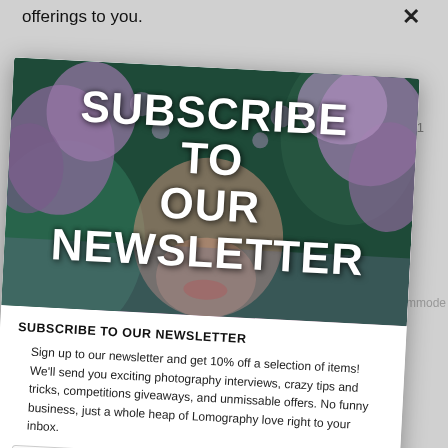offerings to you.
Unlens sub the...
[Figure (photo): Newsletter subscription modal overlay showing a woman's face partially obscured by lilac/purple flowers with large bold white text reading 'SUBSCRIBE TO OUR NEWSLETTER']
SUBSCRIBE TO OUR NEWSLETTER
Sign up to our newsletter and get 10% off a selection of items! We'll send you exciting photography interviews, crazy tips and tricks, competitions giveaways, and unmissable offers. No funny business, just a whole heap of Lomography love right to your inbox.
abc@example.com
SUBSCRIBE